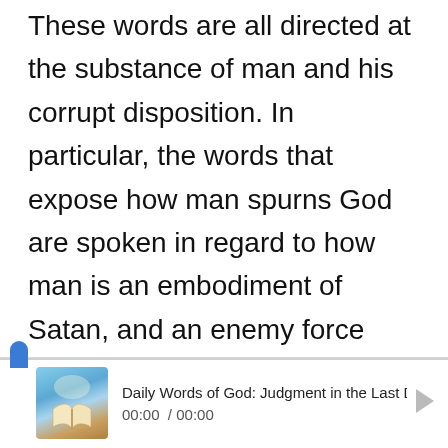These words are all directed at the substance of man and his corrupt disposition. In particular, the words that expose how man spurns God are spoken in regard to how man is an embodiment of Satan, and an enemy force against God. In undertaking His work of judgment, God does not simply make clear the nature of man with a few words; He exposes, deals with, and prunes over the long term. All these different methods of exposure, dealing, and pruning cannot be substituted with ordinary words, but with the truth of which man is utterly bereft. Only methods such as these can be
Daily Words of God: Judgment in the Last Days | Excer... 00:00 / 00:00